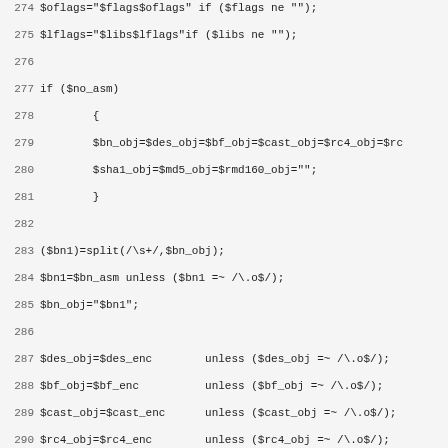Source code listing lines 274-306, Perl script with shell/build configuration logic